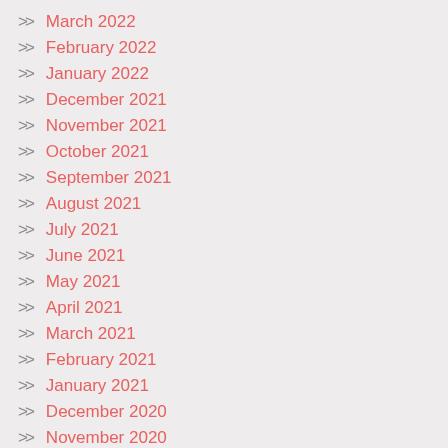March 2022
February 2022
January 2022
December 2021
November 2021
October 2021
September 2021
August 2021
July 2021
June 2021
May 2021
April 2021
March 2021
February 2021
January 2021
December 2020
November 2020